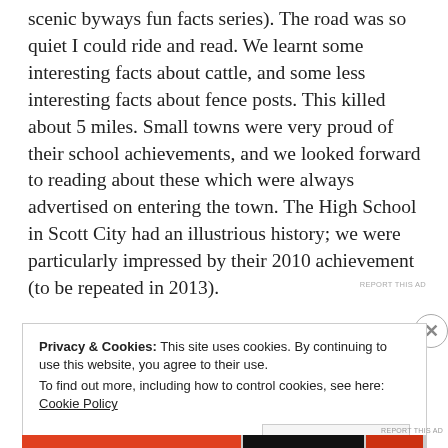scenic byways fun facts series). The road was so quiet I could ride and read. We learnt some interesting facts about cattle, and some less interesting facts about fence posts. This killed about 5 miles. Small towns were very proud of their school achievements, and we looked forward to reading about these which were always advertised on entering the town. The High School in Scott City had an illustrious history; we were particularly impressed by their 2010 achievement (to be repeated in 2013).
Privacy & Cookies: This site uses cookies. By continuing to use this website, you agree to their use. To find out more, including how to control cookies, see here: Cookie Policy
Close and accept